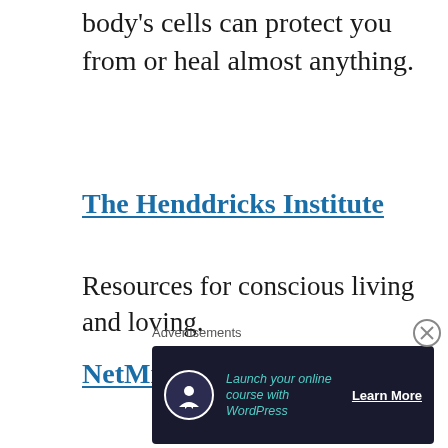body's cells can protect you from or heal almost anything.
The Henddricks Institute
Resources for conscious living and loving.
NetMindBody
The Neuro Emotional Technique (NET) is a powerful intervention that can assess and alleviate the internal stressors that are creating…
Advertisements
[Figure (infographic): Advertisement banner: dark navy background with circular icon, text 'Launch your online course with WordPress' in teal italic, and 'Learn More' button in white bold underlined text.]